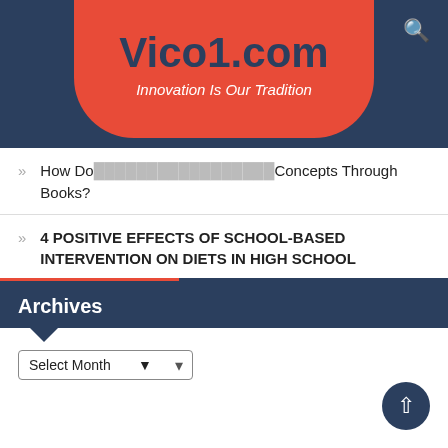Vico1.com — Innovation Is Our Tradition
How Do … Concepts Through Books?
4 POSITIVE EFFECTS OF SCHOOL-BASED INTERVENTION ON DIETS IN HIGH SCHOOL
7 Low Cost But Amazing Locations to Visit for Your Next Holiday
4 Effective Homeschooling Tips that Should Help Parents Enhance their Kids' Learning Process
Usek
Archives
Select Month